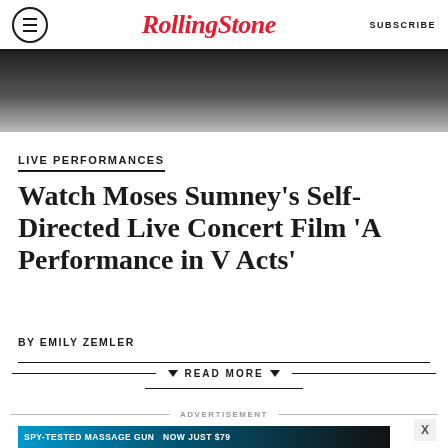RollingStone  SUBSCRIBE
[Figure (photo): Black and white photo of a person, partially visible, cropped at top]
LIVE PERFORMANCES
Watch Moses Sumney’s Self-Directed Live Concert Film ‘A Performance in V Acts’
BY EMILY ZEMLER
READ MORE
ADVERTISEMENT
[Figure (infographic): Advertisement banner: SPY-TESTED MASSAGE GUN NOW JUST $79 with SPY logo]